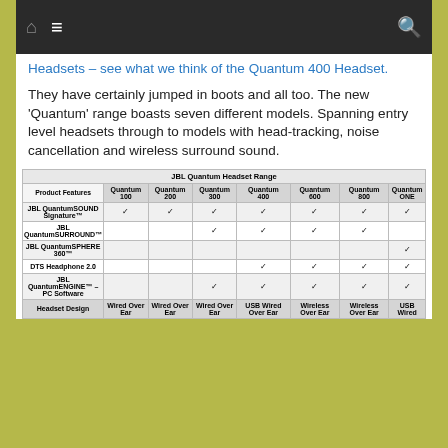Navigation bar with home, menu, and search icons
Headsets – see what we think of the Quantum 400 Headset.
They have certainly jumped in boots and all too. The new 'Quantum' range boasts seven different models. Spanning entry level headsets through to models with head-tracking, noise cancellation and wireless surround sound.
| Product Features | Quantum 100 | Quantum 200 | Quantum 300 | Quantum 400 | Quantum 600 | Quantum 800 | Quantum ONE |
| --- | --- | --- | --- | --- | --- | --- | --- |
| JBL QuantumSOUND Signature™ | ✓ | ✓ | ✓ | ✓ | ✓ | ✓ | ✓ |
| JBL QuantumSURROUND™ |  |  | ✓ | ✓ | ✓ | ✓ |  |
| JBL QuantumSPHERE 360™ |  |  |  |  |  |  | ✓ |
| DTS Headphone 2.0 |  |  |  | ✓ | ✓ | ✓ | ✓ |
| JBL QuantumENGINE™ – PC Software |  |  | ✓ | ✓ | ✓ | ✓ | ✓ |
| Headset Design | Wired Over Ear | Wired Over Ear | Wired Over Ear | USB Wired Over Ear | Wireless Over Ear | Wireless Over Ear | USB Wired |